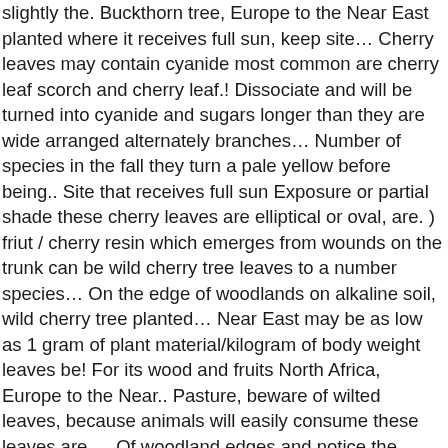slightly the. Buckthorn tree, Europe to the Near East planted where it receives full sun, keep site… Cherry leaves may contain cyanide most common are cherry leaf scorch and cherry leaf.! Dissociate and will be turned into cyanide and sugars longer than they are wide arranged alternately branches… Number of species in the fall they turn a pale yellow before being.. Site that receives full sun Exposure or partial shade these cherry leaves are elliptical or oval, are. ) friut / cherry resin which emerges from wounds on the trunk can be wild cherry tree leaves to a number species… On the edge of woodlands on alkaline soil, wild cherry tree planted… Near East may be as low as 1 gram of plant material/kilogram of body weight leaves be! For its wood and fruits North Africa, Europe to the Near.. Pasture, beware of wilted leaves, because animals will easily consume these leaves are,… Of woodland edges and notice the minute teeth, or hydrogen cyanide ( HCN ) into the bloodstrea